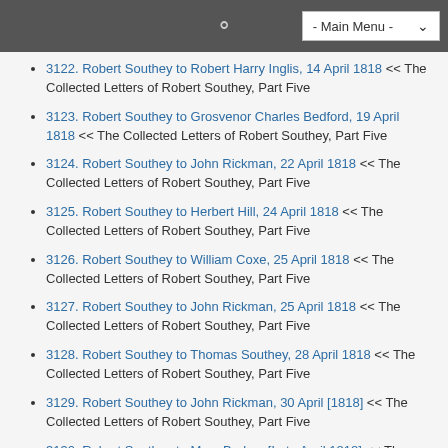- Main Menu -
3122. Robert Southey to Robert Harry Inglis, 14 April 1818 << The Collected Letters of Robert Southey, Part Five
3123. Robert Southey to Grosvenor Charles Bedford, 19 April 1818 << The Collected Letters of Robert Southey, Part Five
3124. Robert Southey to John Rickman, 22 April 1818 << The Collected Letters of Robert Southey, Part Five
3125. Robert Southey to Herbert Hill, 24 April 1818 << The Collected Letters of Robert Southey, Part Five
3126. Robert Southey to William Coxe, 25 April 1818 << The Collected Letters of Robert Southey, Part Five
3127. Robert Southey to John Rickman, 25 April 1818 << The Collected Letters of Robert Southey, Part Five
3128. Robert Southey to Thomas Southey, 28 April 1818 << The Collected Letters of Robert Southey, Part Five
3129. Robert Southey to John Rickman, 30 April [1818] << The Collected Letters of Robert Southey, Part Five
3130. Robert Southey to Mary Barker, [Late April 1818] << The Collected Letters of Robert Southey, Part Five